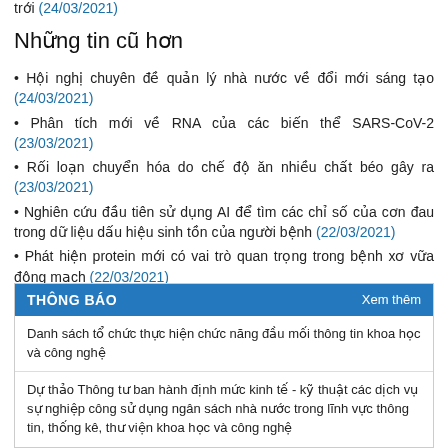trới (24/03/2021)
Những tin cũ hơn
Hội nghị chuyên đề quản lý nhà nước về đổi mới sáng tạo (24/03/2021)
Phân tích mới về RNA của các biến thể SARS-CoV-2 (23/03/2021)
Rối loạn chuyển hóa do chế độ ăn nhiều chất béo gây ra (23/03/2021)
Nghiên cứu đầu tiên sử dụng AI để tìm các chỉ số của cơn đau trong dữ liệu dấu hiệu sinh tồn của người bệnh (22/03/2021)
Phát hiện protein mới có vai trò quan trọng trong bệnh xơ vữa động mạch (22/03/2021)
THÔNG BÁO
Danh sách tổ chức thực hiện chức năng đầu mối thông tin khoa học và công nghệ
Dự thảo Thông tư ban hành định mức kinh tế - kỹ thuật các dịch vụ sự nghiệp công sử dụng ngân sách nhà nước trong lĩnh vực thông tin, thống kê, thư viện khoa học và công nghệ